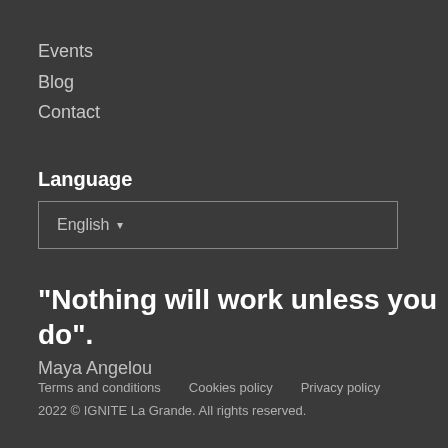Events
Blog
Contact
Language
English ▾
“Nothing will work unless you do”.
Maya Angelou
Terms and conditions   Cookies policy   Privacy policy
2022 © IGNITE La Grande. All rights reserved.